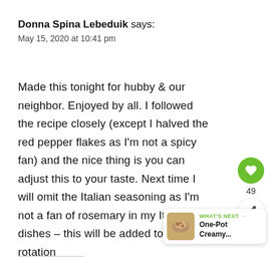Donna Spina Lebeduik says:
May 15, 2020 at 10:41 pm
Made this tonight for hubby & our neighbor. Enjoyed by all. I followed the recipe closely (except I halved the red pepper flakes as I'm not a spicy fan) and the nice thing is you can adjust this to your taste. Next time I will omit the Italian seasoning as I'm not a fan of rosemary in my Italian dishes – this will be added to my meal rotation
[Figure (infographic): Like button (heart icon, green circle) with count 49, and share icon below]
[Figure (infographic): What's Next banner with food image thumbnail and text 'WHAT'S NEXT → One-Pot Creamy...']